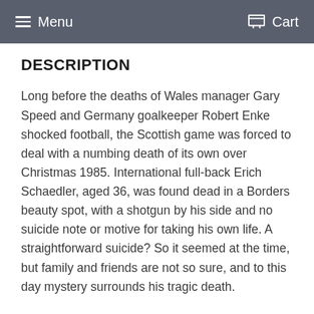Menu  Cart
DESCRIPTION
Long before the deaths of Wales manager Gary Speed and Germany goalkeeper Robert Enke shocked football, the Scottish game was forced to deal with a numbing death of its own over Christmas 1985. International full-back Erich Schaedler, aged 36, was found dead in a Borders beauty spot, with a shotgun by his side and no suicide note or motive for taking his own life. A straightforward suicide? So it seemed at the time, but family and friends are not so sure, and to this day mystery surrounds his tragic death.
Schaedler's loss was felt deeply in the game. He was one of the fittest, hardest men in Scottish football, and appeared indestructible. Fearless and ferocious as a